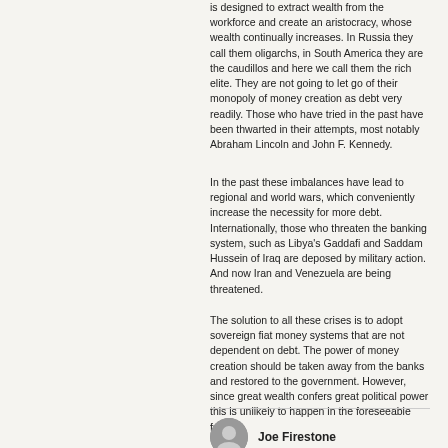is designed to extract wealth from the workforce and create an aristocracy, whose wealth continually increases. In Russia they call them oligarchs, in South America they are the caudillos and here we call them the rich elite. They are not going to let go of their monopoly of money creation as debt very readily. Those who have tried in the past have been thwarted in their attempts, most notably Abraham Lincoln and John F. Kennedy.
In the past these imbalances have lead to regional and world wars, which conveniently increase the necessity for more debt. Internationally, those who threaten the banking system, such as Libya's Gaddafi and Saddam Hussein of Iraq are deposed by military action. And now Iran and Venezuela are being threatened.
The solution to all these crises is to adopt sovereign fiat money systems that are not dependent on debt. The power of money creation should be taken away from the banks and restored to the government. However, since great wealth confers great political power this is unlikely to happen in the foreseeable future.
Joe Firestone